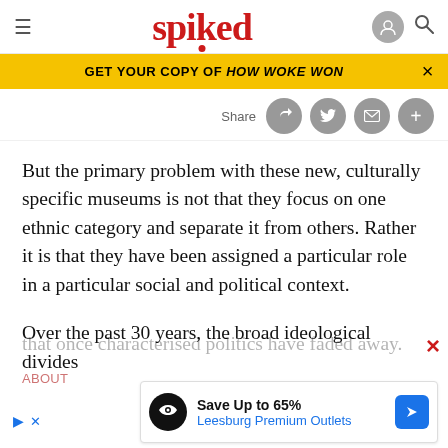spiked
GET YOUR COPY OF HOW WOKE WON
Share
But the primary problem with these new, culturally specific museums is not that they focus on one ethnic category and separate it from others. Rather it is that they have been assigned a particular role in a particular social and political context.
Over the past 30 years, the broad ideological divides that once characterised politics have faded away.
Save Up to 65% Leesburg Premium Outlets
ABOUT